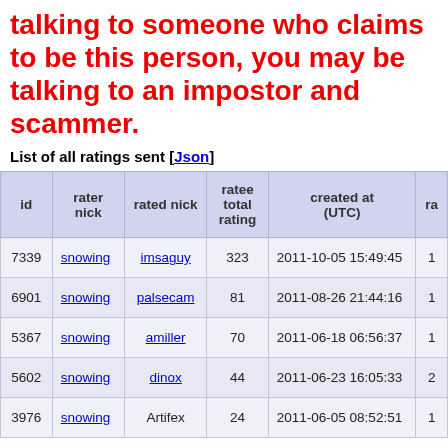talking to someone who claims to be this person, you may be talking to an impostor and scammer.
List of all ratings sent [json]
| id | rater nick | rated nick | ratee total rating | created at (UTC) | ra |
| --- | --- | --- | --- | --- | --- |
| 7339 | snowing | imsaguy | 323 | 2011-10-05 15:49:45 | 1 |
| 6901 | snowing | palsecam | 81 | 2011-08-26 21:44:16 | 1 |
| 5367 | snowing | amiller | 70 | 2011-06-18 06:56:37 | 1 |
| 5602 | snowing | dinox | 44 | 2011-06-23 16:05:33 | 2 |
| 3976 | snowing | Artifex | 24 | 2011-06-05 08:52:51 | 1 |